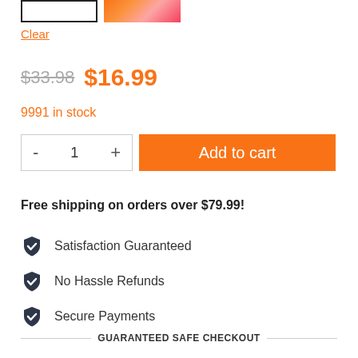[Figure (photo): Two product thumbnail images: a white/blank one with black border (selected), and a floral/colorful one]
Clear
$33.98  $16.99
9991 in stock
- 1 +   Add to cart
Free shipping on orders over $79.99!
Satisfaction Guaranteed
No Hassle Refunds
Secure Payments
GUARANTEED SAFE CHECKOUT